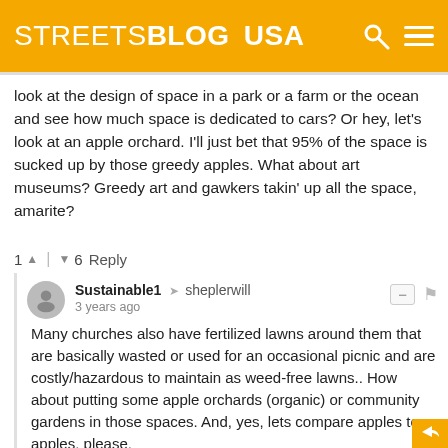STREETSBLOG USA
look at the design of space in a park or a farm or the ocean and see how much space is dedicated to cars? Or hey, let's look at an apple orchard. I'll just bet that 95% of the space is sucked up by those greedy apples. What about art museums? Greedy art and gawkers takin' up all the space, amarite?
1 ↑ | ↓ 6   Reply
Sustainable1 → sheplerwill
3 years ago
Many churches also have fertilized lawns around them that are basically wasted or used for an occasional picnic and are costly/hazardous to maintain as weed-free lawns.. How about putting some apple orchards (organic) or community gardens in those spaces. And, yes, lets compare apples to apples, please.
↑ | ↓   Reply
Mike → sheplerwill